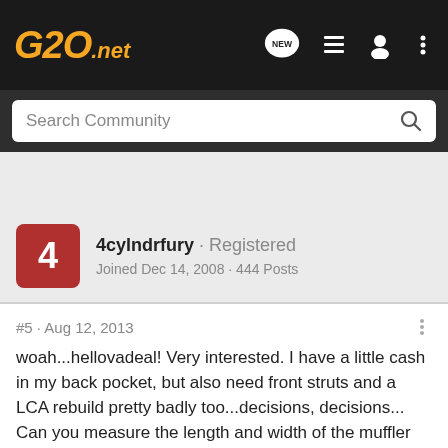G20.net
Search Community
4cylndrfury · Registered
Joined Dec 14, 2008 · 444 Posts
#5 · Aug 12, 2013
woah...hellovadeal! Very interested. I have a little cash in my back pocket, but also need front struts and a LCA rebuild pretty badly too...decisions, decisions... Can you measure the length and width of the muffler itself? Want to make sure it will tuck up behind the bumper.
Does anyone have any input on this can? I want a nice tone